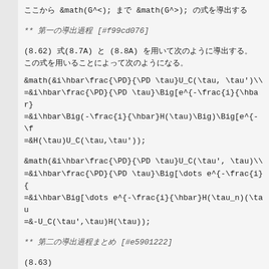ここから &math(G^<); まで &math(G^>); の式を導出する
** 第一の導出過程 [#f99cd076]
(8.62) 式(8.7A) と (8.8A) を用いて次のように導出する。
** 第二の導出過程まとめ [#e5901222]
(8.63)